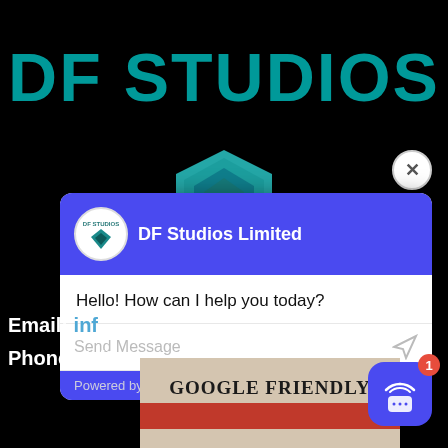DF STUDIOS
[Figure (screenshot): DF Studios logo hexagon shape in teal/blue tones]
[Figure (screenshot): Chat widget popup from MobileMonkey showing DF Studios Limited header, message 'Hello! How can I help you today?', Send Message input, and Powered by MobileMonkey footer]
Email:  info
Phone: 1 (8
[Figure (screenshot): Bottom image strip with text 'GOOGLE FRIENDLY' and a red bar below]
[Figure (screenshot): Chat bubble button with notification badge showing 1]